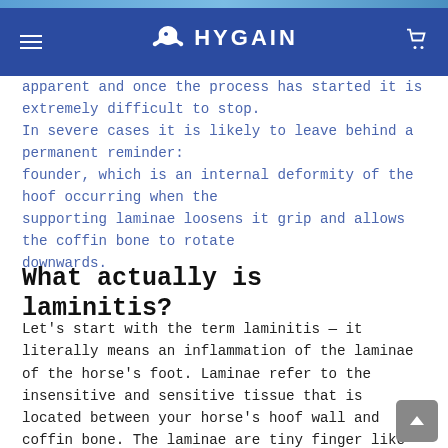HYGAIN
apparent and once the process has started it is extremely difficult to stop. In severe cases it is likely to leave behind a permanent reminder: founder, which is an internal deformity of the hoof occurring when the supporting laminae loosens it grip and allows the coffin bone to rotate downwards.
What actually is laminitis?
Let's start with the term laminitis — it literally means an inflammation of the laminae of the horse's foot. Laminae refer to the insensitive and sensitive tissue that is located between your horse's hoof wall and coffin bone. The laminae are tiny finger like structures that interlock and secure the coffin bone to the hoof wall and keep the bone in place. If your horse's blood flow to these laminae is disrupted, inflammation occurs that weakens the laminae structures and interferes with the hoof wall to bone bond making the laminae unable to hold the coffin bone in place. That is exactly what laminitis is — an inflammation of the laminae.